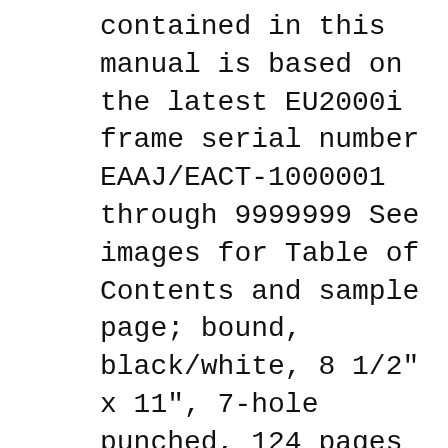contained in this manual is based on the latest EU2000i frame serial number EAAJ/EACT-1000001 through 9999999 See images for Table of Contents and sample page; bound, black/white, 8 1/2" x 11", 7-hole punched, 124 pages Enter your serial number prefix (such as EAAJ) in the search box to locate applicable shop manuals, parts catalogs, and free downloads.
Manuals Genuine parts . Honda parts Owners Engine Room Brochure Owners. Owner Manuals. If you've lost your manual, feel free to download a new one below. Owner manuals. It's important to read through your manual before you use your Honda Industrial